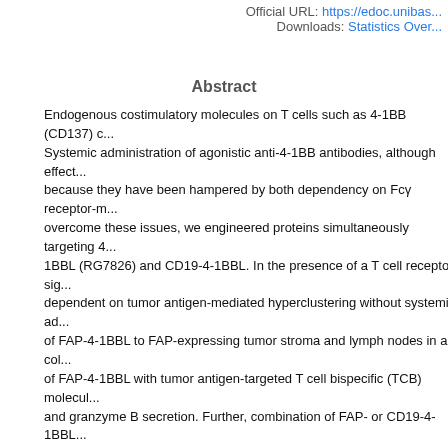Official URL: https://edoc.unibas... Downloads: Statistics Over...
Abstract
Endogenous costimulatory molecules on T cells such as 4-1BB (CD137) c... Systemic administration of agonistic anti-4-1BB antibodies, although effect... because they have been hampered by both dependency on Fcγ receptor-m... overcome these issues, we engineered proteins simultaneously targeting 4... 1BBL (RG7826) and CD19-4-1BBL. In the presence of a T cell receptor sig... dependent on tumor antigen-mediated hyperclustering without systemic ad... of FAP-4-1BBL to FAP-expressing tumor stroma and lymph nodes in a col... of FAP-4-1BBL with tumor antigen-targeted T cell bispecific (TCB) molecul... and granzyme B secretion. Further, combination of FAP- or CD19-4-1BBL... respectively, resulted in tumor remission in mouse models, accompanied b... CD8; +; T cells. FAP- and CD19-4-1BBL thus represent an off-the-shelf co... modification of effector cells for the treatment of solid and hematological m...
| Field | Value |
| --- | --- |
| Faculties and Departments: | 05 Faculty of Science > Departement Biozentru... Structural Biology (Stahlberg) |
| UniBasel Contributors: | Stahlberg, Henning |
| Item Type: | Article, refereed |
| Article Subtype: | Research Article |
| Publisher: | American Association for the Advancement of S... |
| ISSN: | 1946-6234 |
| e-ISSN: | 1946-6242 |